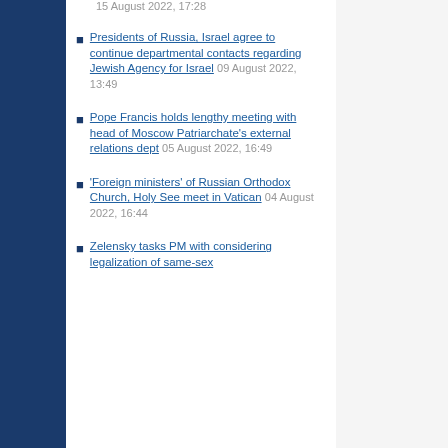15 August 2022, 17:28
Presidents of Russia, Israel agree to continue departmental contacts regarding Jewish Agency for Israel 09 August 2022, 13:49
Pope Francis holds lengthy meeting with head of Moscow Patriarchate's external relations dept 05 August 2022, 16:49
'Foreign ministers' of Russian Orthodox Church, Holy See meet in Vatican 04 August 2022, 16:44
Zelensky tasks PM with considering legalization of same-sex